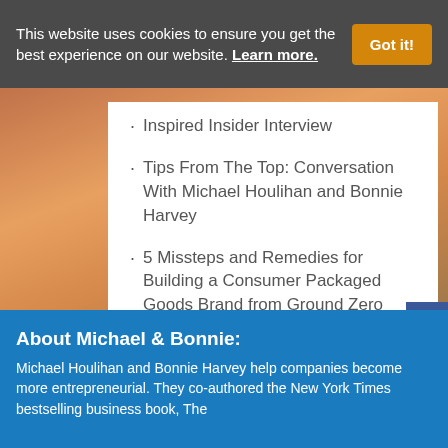This website uses cookies to ensure you get the best experience on our website. Learn more.
Inspired Insider Interview
Tips From The Top: Conversation With Michael Houlihan and Bonnie Harvey
5 Missteps and Remedies for Building a Consumer Packaged Goods Brand from Ground Zero
About Michael & Bonnie:
Michael Houlihan and Bonnie Harvey help companies become more entrepreneurial. They co-authored the New York Times bestselling business book, The